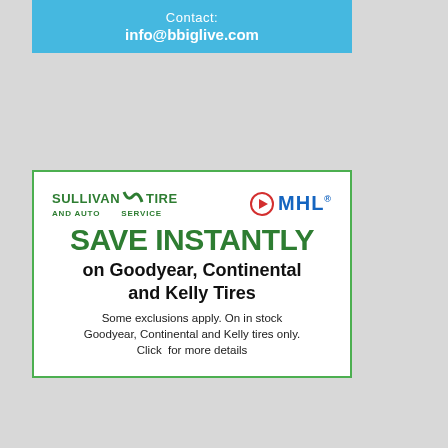Contact: info@bbiglive.com
[Figure (infographic): Advertisement for Sullivan Tire and Auto Service partnered with MHL. Text reads: SAVE INSTANTLY on Goodyear, Continental and Kelly Tires. Some exclusions apply. On in stock Goodyear, Continental and Kelly tires only. Click for more details.]
[Figure (logo): MY HOCKEY LIVE logo bar at bottom - dark bar with play button circle icon and text MY HOCKEY LIVE]